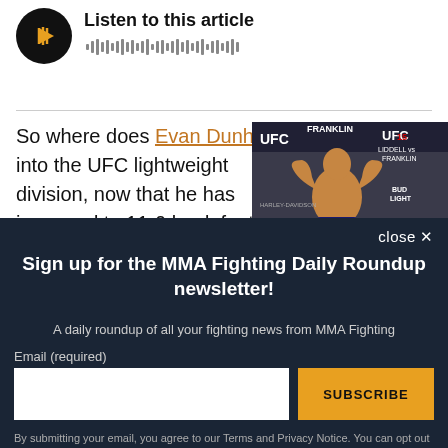[Figure (other): Audio player with black circular play button showing orange triangle icon, title 'Listen to this article' and waveform graphic]
So where does Evan Dunham fit into the UFC lightweight division, now that he has improved to 11-0 by defeating
[Figure (photo): UFC fighter posing shirtless flexing both arms at a UFC weigh-in event with UFC and Bud Light branding visible]
close ×
Sign up for the MMA Fighting Daily Roundup newsletter!
A daily roundup of all your fighting news from MMA Fighting
Email (required)
SUBSCRIBE
By submitting your email, you agree to our Terms and Privacy Notice. You can opt out at any time. This site is protected by reCAPTCHA and the Google Privacy Policy and Terms of Service apply.